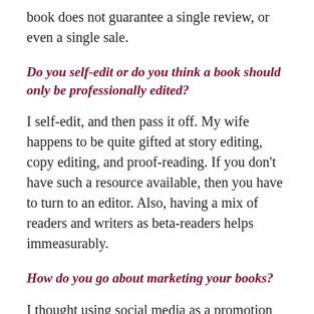book does not guarantee a single review, or even a single sale.
Do you self-edit or do you think a book should only be professionally edited?
I self-edit, and then pass it off. My wife happens to be quite gifted at story editing, copy editing, and proof-reading. If you don't have such a resource available, then you have to turn to an editor. Also, having a mix of readers and writers as beta-readers helps immeasurably.
How do you go about marketing your books?
I thought using social media as a promotion was good enough, which was a big mistake on my part. But now I understand the importance of pre-release marketing, including ARC copies for